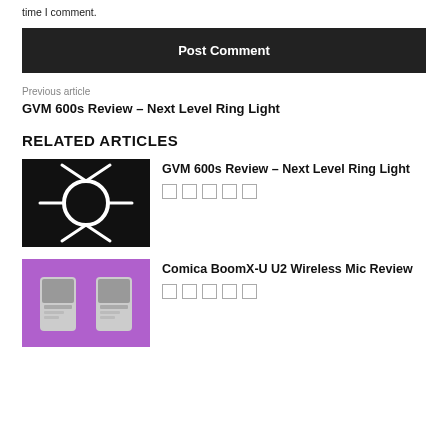time I comment.
Post Comment
Previous article
GVM 600s Review – Next Level Ring Light
RELATED ARTICLES
[Figure (photo): GVM 600s ring light on black background, showing ring with extended arms glowing white]
GVM 600s Review – Next Level Ring Light
[Figure (photo): Comica BoomX-U U2 wireless microphone devices on purple background]